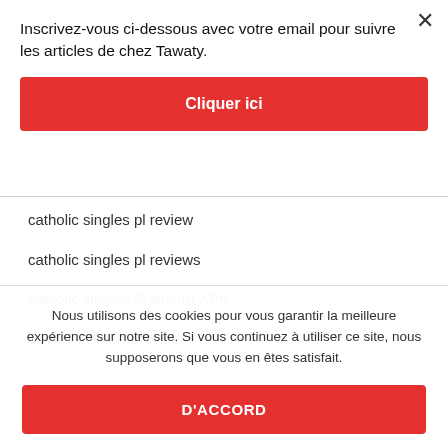Inscrivez-vous ci-dessous avec votre email pour suivre les articles de chez Tawaty.
Cliquer ici
catholic singles pl review
catholic singles pl reviews
catholic singles Premium-APK
Catholic Singles review
Nous utilisons des cookies pour vous garantir la meilleure expérience sur notre site. Si vous continuez à utiliser ce site, nous supposerons que vous en êtes satisfait.
D'ACCORD